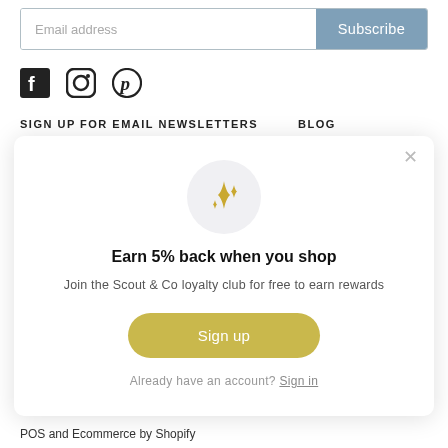[Figure (screenshot): Email address input field with Subscribe button (blue-grey)]
[Figure (illustration): Social media icons: Facebook, Instagram, Pinterest]
SIGN UP FOR EMAIL NEWSLETTERS   BLOG
[Figure (infographic): Modal popup with sparkle icon, 'Earn 5% back when you shop' heading, 'Join the Scout & Co loyalty club for free to earn rewards' description, yellow Sign up button, and 'Already have an account? Sign in' link]
POS and Ecommerce by Shopify